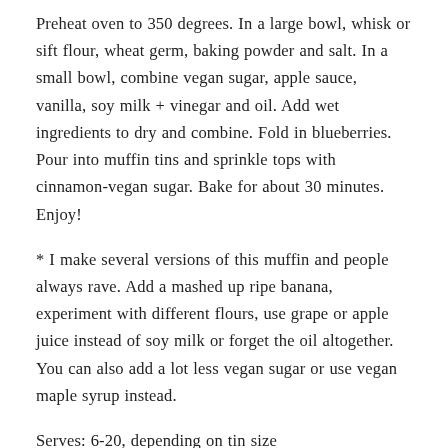Preheat oven to 350 degrees. In a large bowl, whisk or sift flour, wheat germ, baking powder and salt. In a small bowl, combine vegan sugar, apple sauce, vanilla, soy milk + vinegar and oil. Add wet ingredients to dry and combine. Fold in blueberries. Pour into muffin tins and sprinkle tops with cinnamon-vegan sugar. Bake for about 30 minutes. Enjoy!
* I make several versions of this muffin and people always rave. Add a mashed up ripe banana, experiment with different flours, use grape or apple juice instead of soy milk or forget the oil altogether. You can also add a lot less vegan sugar or use vegan maple syrup instead.
Serves: 6-20, depending on tin size